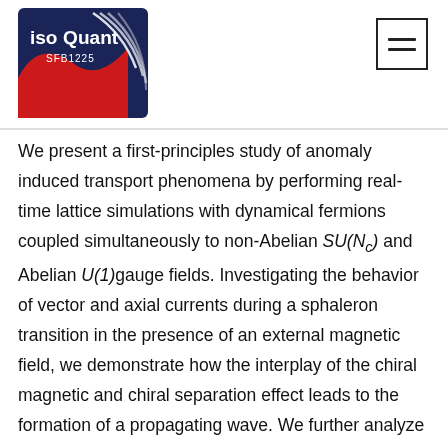[Figure (logo): IsoQuant SFB1225 logo — dark navy background with red wave shape and white text 'isoQuant SFB1225']
[Figure (other): Hamburger menu icon — square border with two horizontal lines inside]
We present a first-principles study of anomaly induced transport phenomena by performing real-time lattice simulations with dynamical fermions coupled simultaneously to non-Abelian SU(Nc) and Abelian U(1)gauge fields. Investigating the behavior of vector and axial currents during a sphaleron transition in the presence of an external magnetic field, we demonstrate how the interplay of the chiral magnetic and chiral separation effect leads to the formation of a propagating wave. We further analyze the dependence of the magnitude of the induced vector